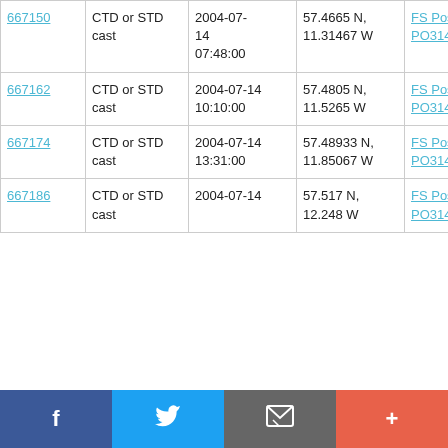| 667150 | CTD or STD cast | 2004-07-14 07:48:00 | 57.4665 N, 11.31467 W | FS Poseidon PO314 |
| 667162 | CTD or STD cast | 2004-07-14 10:10:00 | 57.4805 N, 11.5265 W | FS Poseidon PO314 |
| 667174 | CTD or STD cast | 2004-07-14 13:31:00 | 57.48933 N, 11.85067 W | FS Poseidon PO314 |
| 667186 | CTD or STD cast | 2004-07-14 | 57.517 N, 12.248 W | FS Poseidon PO314 |
[Figure (other): Social media share bar with Facebook, Twitter, email, and plus buttons]